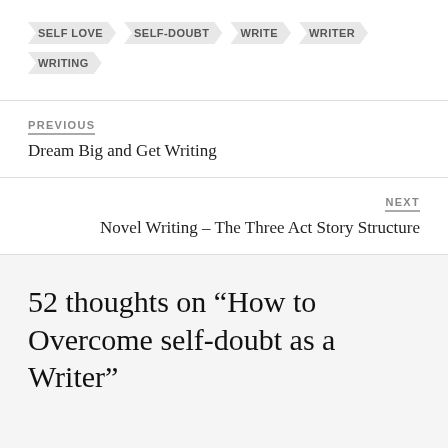SELF LOVE
SELF-DOUBT
WRITE
WRITER
WRITING
PREVIOUS
Dream Big and Get Writing
NEXT
Novel Writing – The Three Act Story Structure
52 thoughts on “How to Overcome self-doubt as a Writer”